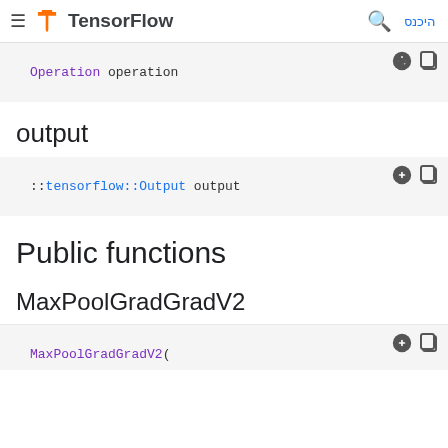TensorFlow  היכנס
Operation operation
output
::tensorflow::Output output
Public functions
MaxPoolGradGradV2
MaxPoolGradGradV2(